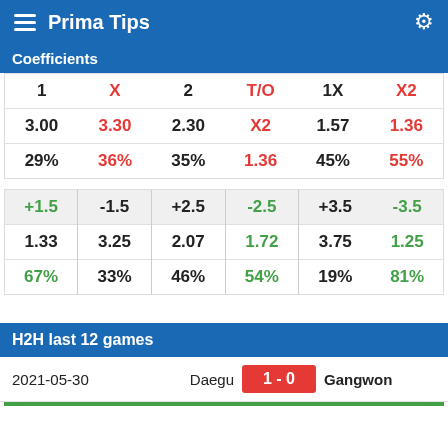Prima Tips
Coefficients
| 1 | X | 2 | T/O | 1X | X2 |
| --- | --- | --- | --- | --- | --- |
| 3.00 | 3.30 | 2.30 | X2 | 1.57 | 1.36 |
| 29% | 36% | 35% | 1.36 | 45% | 55% |
| +1.5 | -1.5 | +2.5 | -2.5 | +3.5 | -3.5 |
| --- | --- | --- | --- | --- | --- |
| 1.33 | 3.25 | 2.07 | 1.72 | 3.75 | 1.25 |
| 67% | 33% | 46% | 54% | 19% | 81% |
H2H last 12 games
2021-05-30  Daegu  1 - 0  Gangwon